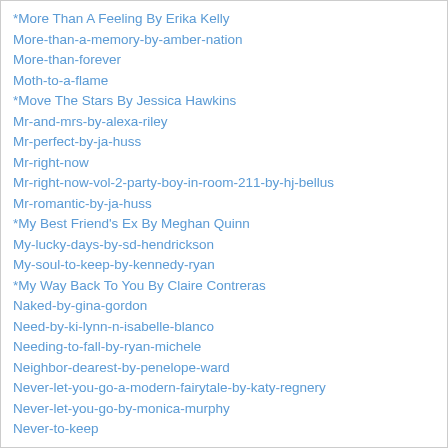*More Than A Feeling By Erika Kelly
More-than-a-memory-by-amber-nation
More-than-forever
Moth-to-a-flame
*Move The Stars By Jessica Hawkins
Mr-and-mrs-by-alexa-riley
Mr-perfect-by-ja-huss
Mr-right-now
Mr-right-now-vol-2-party-boy-in-room-211-by-hj-bellus
Mr-romantic-by-ja-huss
*My Best Friend's Ex By Meghan Quinn
My-lucky-days-by-sd-hendrickson
My-soul-to-keep-by-kennedy-ryan
*My Way Back To You By Claire Contreras
Naked-by-gina-gordon
Need-by-ki-lynn-n-isabelle-blanco
Needing-to-fall-by-ryan-michele
Neighbor-dearest-by-penelope-ward
Never-let-you-go-a-modern-fairytale-by-katy-regnery
Never-let-you-go-by-monica-murphy
Never-to-keep